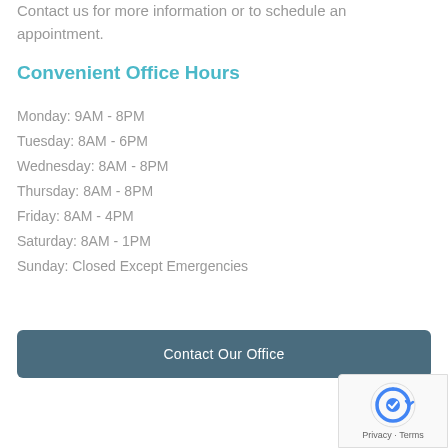Contact us for more information or to schedule an appointment.
Convenient Office Hours
Monday: 9AM - 8PM
Tuesday: 8AM - 6PM
Wednesday: 8AM - 8PM
Thursday: 8AM - 8PM
Friday: 8AM - 4PM
Saturday: 8AM - 1PM
Sunday: Closed Except Emergencies
Contact Our Office
[Figure (logo): reCAPTCHA badge with privacy and terms text]